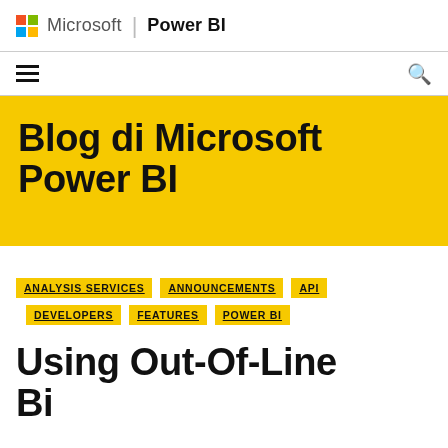Microsoft | Power BI
[Figure (logo): Microsoft logo with four colored squares (red, green, blue, yellow) and text 'Microsoft | Power BI']
ANALYSIS SERVICES
ANNOUNCEMENTS
API
DEVELOPERS
FEATURES
POWER BI
Blog di Microsoft Power BI
Using Out-Of-Line Bindings In Power BI